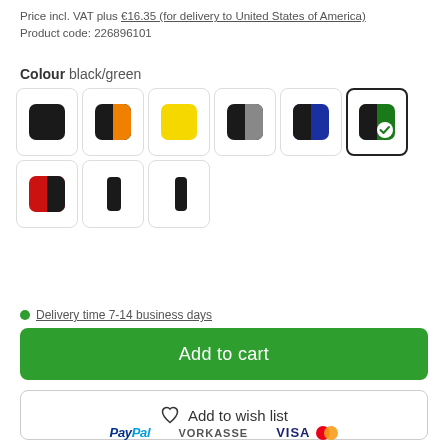Price incl. VAT plus €16.35 (for delivery to United States of America)
Product code: 226896101
Colour black/green
[Figure (other): Colour swatch selector showing 9 colour variants: black, black/orange, yellow, black/grey, black/blue, black/green (selected with checkmark), black/red, black only (two variants)]
Delivery time 7-14 business days
Add to cart
Add to wish list
PayPal  VORKASSE  VISA